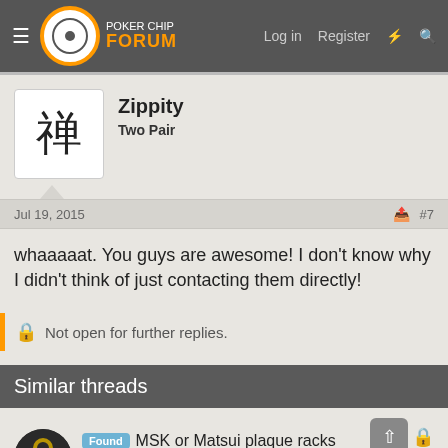Poker Chip Forum — Log in  Register
Zippity
Two Pair
Jul 19, 2015  #7
whaaaaat. You guys are awesome! I don't know why I didn't think of just contacting them directly!
Not open for further replies.
Similar threads
Found  MSK or Matsui plaque racks
Himewad · Poker Chip Forum Classifieds
Replies: 4 · Aug 2, 2022
Found  20 Good quality chip racks for Paulson